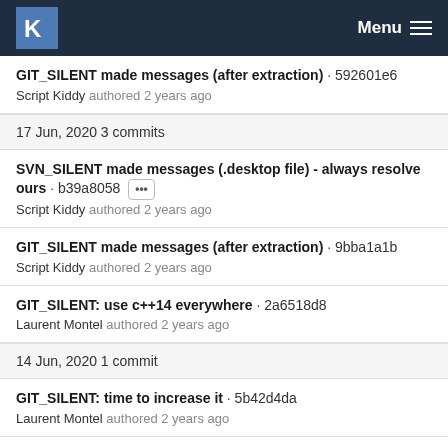KDE Menu
GIT_SILENT made messages (after extraction) · 592601e6
Script Kiddy authored 2 years ago
17 Jun, 2020 3 commits
SVN_SILENT made messages (.desktop file) - always resolve ours · b39a8058 ··· 
Script Kiddy authored 2 years ago
GIT_SILENT made messages (after extraction) · 9bba1a1b
Script Kiddy authored 2 years ago
GIT_SILENT: use c++14 everywhere · 2a6518d8
Laurent Montel authored 2 years ago
14 Jun, 2020 1 commit
GIT_SILENT: time to increase it · 5b42d4da
Laurent Montel authored 2 years ago